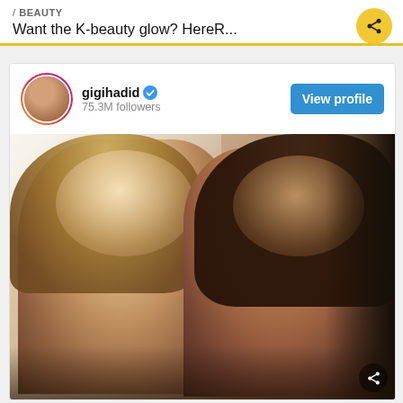/ BEAUTY
Want the K-beauty glow? HereR...
[Figure (screenshot): Instagram profile card for gigihadid with 75.3M followers and a View profile button, showing a photo of two young women posing together — one blonde leaning in, one brunette making a kissing face — in a selfie-style portrait.]